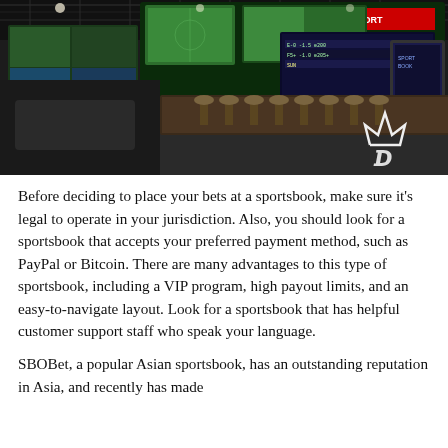[Figure (photo): Interior of a large sportsbook with multiple large screens showing sports, a long bar counter with barstools, dark industrial ceiling, and a crown/D logo on the right side wall.]
Before deciding to place your bets at a sportsbook, make sure it's legal to operate in your jurisdiction. Also, you should look for a sportsbook that accepts your preferred payment method, such as PayPal or Bitcoin. There are many advantages to this type of sportsbook, including a VIP program, high payout limits, and an easy-to-navigate layout. Look for a sportsbook that has helpful customer support staff who speak your language.
SBOBet, a popular Asian sportsbook, has an outstanding reputation in Asia, and recently has made